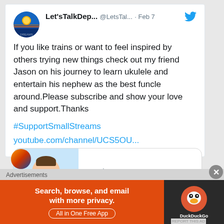Let'sTalkDep...  @LetsTal...  · Feb 7
If you like trains or want to feel inspired by others trying new things check out my friend Jason on his journey to learn ukulele and entertain his nephew as the best funcle around.Please subscribe and show your love and support.Thanks
#SupportSmallStreams
youtube.com/channel/UCS5OU...
[Figure (screenshot): Link preview card showing youtube.com and 'Jason Payne' with a bitmoji avatar of a bearded man with sunglasses]
1
Advertisements
[Figure (other): DuckDuckGo advertisement banner: 'Search, browse, and email with more privacy. All in One Free App' on orange background with DuckDuckGo logo on dark background]